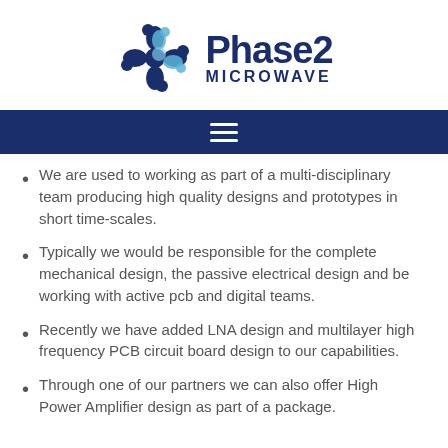[Figure (logo): Phase 2 Microwave company logo with blue snowflake/cross icon and bold navy text reading Phase 2 MICROWAVE]
We are used to working as part of a multi-disciplinary team producing high quality designs and prototypes in short time-scales.
Typically we would be responsible for the complete mechanical design, the passive electrical design and be working with active pcb and digital teams.
Recently we have added LNA design and multilayer high frequency PCB circuit board design to our capabilities.
Through one of our partners we can also offer High Power Amplifier design as part of a package.